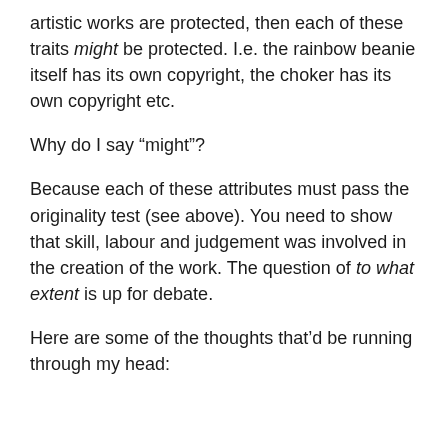artistic works are protected, then each of these traits might be protected. I.e. the rainbow beanie itself has its own copyright, the choker has its own copyright etc.
Why do I say “might”?
Because each of these attributes must pass the originality test (see above). You need to show that skill, labour and judgement was involved in the creation of the work. The question of to what extent is up for debate.
Here are some of the thoughts that’d be running through my head: